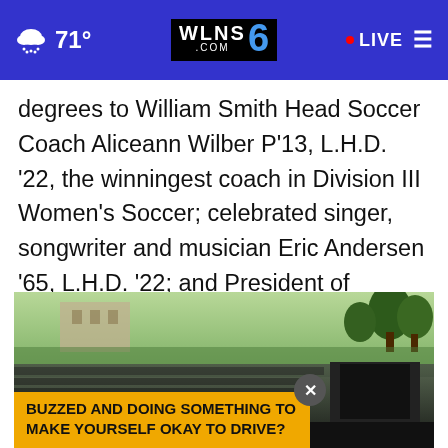71° WLNS 6 .COM · LIVE
degrees to William Smith Head Soccer Coach Aliceann Wilber P'13, L.H.D. '22, the winningest coach in Division III Women's Soccer; celebrated singer, songwriter and musician Eric Andersen '65, L.H.D. '22; and President of Ukraine Volodymyr Zelenskyy L.H.D. '22, in absentia.
[Figure (photo): Large outdoor college graduation ceremony on a green lawn with crowd of graduates and audience, trees and buildings in background]
BUZZED AND DOING SOMETHING TO MAKE YOURSELF OKAY TO DRIVE?